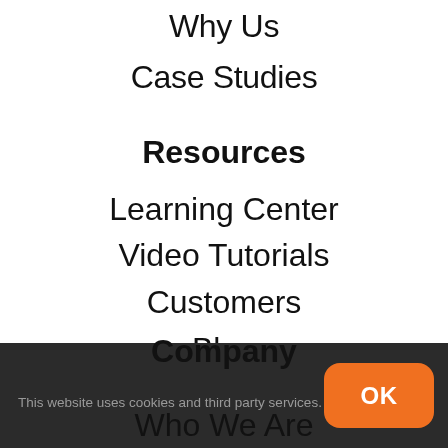Why Us
Case Studies
Resources
Learning Center
Video Tutorials
Customers
Blog
Company
This website uses cookies and third party services.
Who We Are
OK